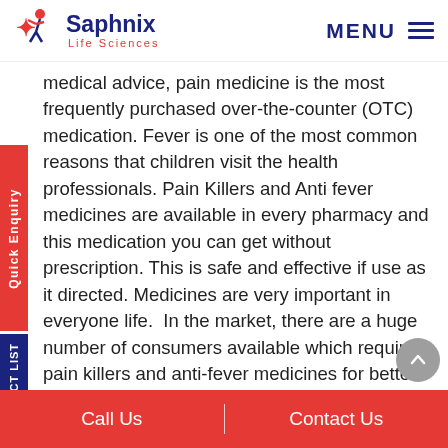[Figure (logo): Saphnix Life Sciences logo with stylized figure and company name]
medical advice, pain medicine is the most frequently purchased over-the-counter (OTC) medication. Fever is one of the most common reasons that children visit the health professionals. Pain Killers and Anti fever medicines are available in every pharmacy and this medication you can get without prescription. This is safe and effective if use as it directed. Medicines are very important in everyone life.  In the market, there are a huge number of consumers available which required pain killers and anti-fever medicines for better health.
Pain killers reduces the muscle aches and relieve other body part pain. Well Saphnix offer quality medicines to reduce un bearable pain and relax you. As many people ask how do I use pain relievers
Call Us   |   Contact Us